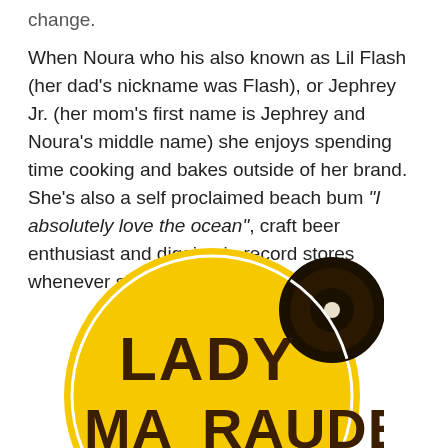change.
When Noura who his also known as Lil Flash (her dad's nickname was Flash), or Jephrey Jr. (her mom's first name is Jephrey and Noura's middle name) she enjoys spending time cooking and bakes outside of her brand. She's also a self proclaimed beach bum "I absolutely love the ocean", craft beer enthusiast and digging in record stores whenever she gets the chance to travel.
[Figure (logo): Lady Marauder logo — a yellow circular badge with a vinyl record graphic in the top right and bold brown text reading 'LADY MARAUDER']